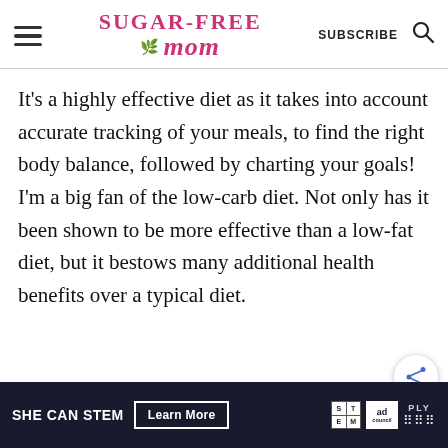Sugar-Free Mom | SUBSCRIBE
It's a highly effective diet as it takes into account accurate tracking of your meals, to find the right body balance, followed by charting your goals! I'm a big fan of the low-carb diet. Not only has it been shown to be more effective than a low-fat diet, but it bestows many additional health benefits over a typical diet.
[Figure (other): Share button icon (circular button with share symbol)]
SHE CAN STEM | Learn More | ad council advertisement banner